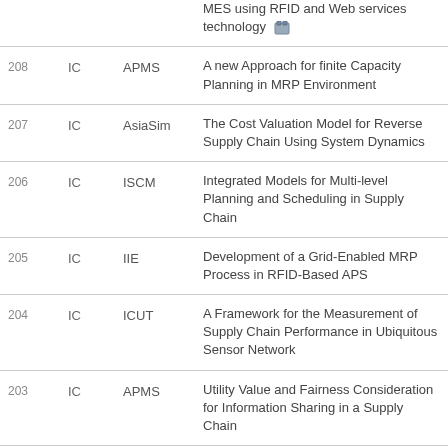| # | Type | Conf | Title |
| --- | --- | --- | --- |
|  |  |  | MES using RFID and Web services technology |
| 208 | IC | APMS | A new Approach for finite Capacity Planning in MRP Environment |
| 207 | IC | AsiaSim | The Cost Valuation Model for Reverse Supply Chain Using System Dynamics |
| 206 | IC | ISCM | Integrated Models for Multi-level Planning and Scheduling in Supply Chain |
| 205 | IC | IIE | Development of a Grid-Enabled MRP Process in RFID-Based APS |
| 204 | IC | ICUT | A Framework for the Measurement of Supply Chain Performance in Ubiquitous Sensor Network |
| 203 | IC | APMS | Utility Value and Fairness Consideration for Information Sharing in a Supply Chain |